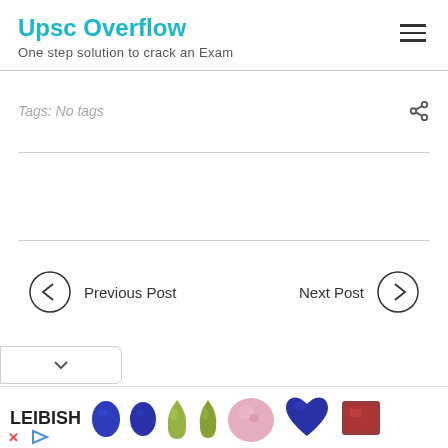Upsc Overflow
One step solution to crack an Exam
Tags: No tags
Previous Post
Next Post
[Figure (screenshot): Advertisement banner for LEIBISH featuring gemstones including blue sapphires, yellow-green teardrop gems, pink oval diamond, blue heart-shaped sapphire, and red radiant cut gemstone.]